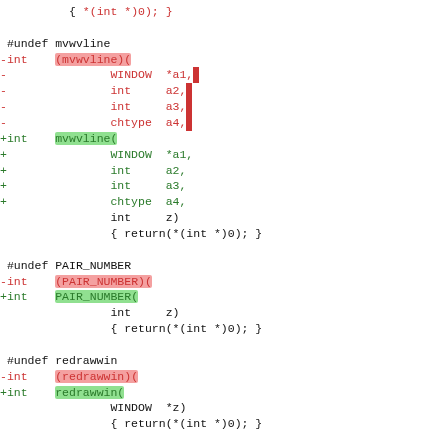{ *(int *)0); } (truncated top)
#undef mvwvline
-int (mvwvline)(
-                WINDOW *a1,
-                int    a2,
-                int    a3,
-                chtype a4,
+int    mvwvline(
+                WINDOW *a1,
+                int    a2,
+                int    a3,
+                chtype a4,
                 int    z)
                 { return(*(int *)0); }
#undef PAIR_NUMBER
-int (PAIR_NUMBER)(
+int PAIR_NUMBER(
                 int    z)
                 { return(*(int *)0); }
#undef redrawwin
-int (redrawwin)(
+int redrawwin(
                 WINDOW *z)
                 { return(*(int *)0); }
#undef refresh
-int (refresh)(void)
+int refresh(void)
                 { return(*(int *)0); }